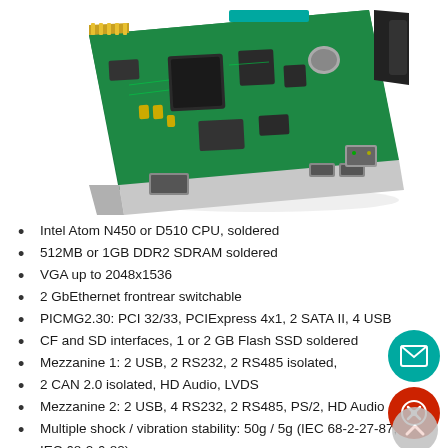[Figure (photo): Photo of a CompactPCI single board computer (SBC) with a green PCB, showing processors, memory chips, connectors including VGA, USB, Ethernet ports, and a front panel bracket with I/O connectors.]
Intel Atom N450 or D510 CPU, soldered
512MB or 1GB DDR2 SDRAM soldered
VGA up to 2048x1536
2 GbEthernet frontrear switchable
PICMG2.30: PCI 32/33, PCIExpress 4x1, 2 SATA II, 4 USB
CF and SD interfaces, 1 or 2 GB Flash SSD soldered
Mezzanine 1: 2 USB, 2 RS232, 2 RS485 isolated,
2 CAN 2.0 isolated, HD Audio, LVDS
Mezzanine 2: 2 USB, 4 RS232, 2 RS485, PS/2, HD Audio
Multiple shock / vibration stability: 50g / 5g (IEC 68-2-27-87; IEC 68-2-6-82)